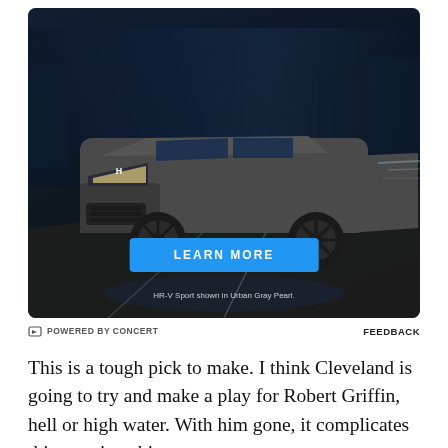[Figure (photo): Honda HR-V Sport SUV in Urban Gray Pearl shown driving, with a blue LEARN MORE button and disclaimer text 'HR-V Sport shown in Urban Gray Pearl.']
POWERED BY CONCERT    FEEDBACK
This is a tough pick to make. I think Cleveland is going to try and make a play for Robert Griffin, hell or high water. With him gone, it complicates things quite a bit.